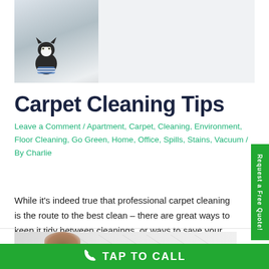[Figure (photo): Photo of a black and white cat sitting on a white bed or couch in a light-colored room]
Carpet Cleaning Tips
Leave a Comment / Apartment, Carpet, Cleaning, Environment, Floor Cleaning, Go Green, Home, Office, Spills, Stains, Vacuum / By Charlie
While it's indeed true that professional carpet cleaning is the route to the best clean – there are great ways to keep it tidy between cleanings, or ways to save your carpet when a spill happens.
[Figure (photo): Bottom portion of image showing a person's head from behind, looking at a carpet or floor surface]
TAP TO CALL